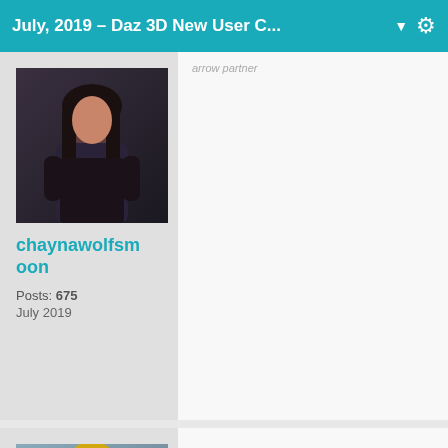July, 2019 – Daz 3D New User C... ▼
[Figure (photo): Profile avatar of chaynawolfsmoon showing a dark-haired female 3D character in dark outfit]
chaynawolfsmoon
Posts: 675
July 2019
[Figure (photo): Profile avatar of dragoneyes002 showing a blonde 3D female character in green top and brown boots]
dragoneyes002
Posts: 205
July 2019
Kismet2012 said:
dragoneyes002 said: Here is a portrait I felt like doing with a recently aquired